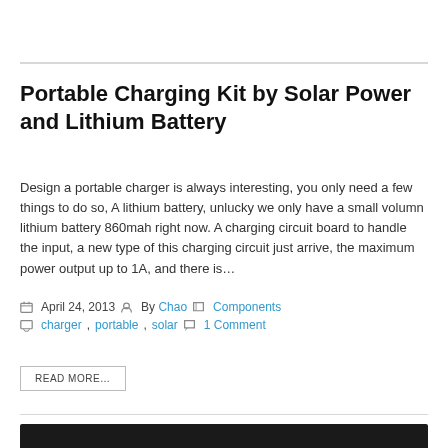Portable Charging Kit by Solar Power and Lithium Battery
Design a portable charger is always interesting, you only need a few things to do so, A lithium battery, unlucky we only have a small volumn lithium battery 860mah right now. A charging circuit board to handle the input, a new type of this charging circuit just arrive, the maximum power output up to 1A, and there is…
April 24, 2013  By Chao  Components  charger, portable, solar  1 Comment
READ MORE…
[Figure (photo): Dark image strip at the bottom of the page]